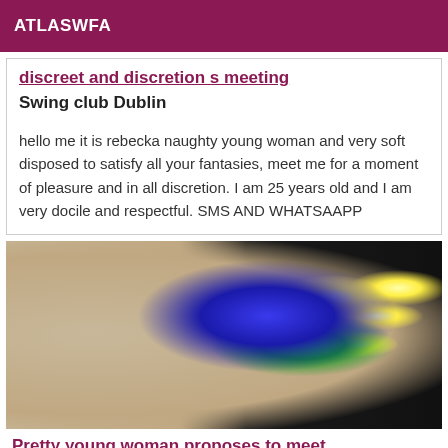ATLASWFA
discreet and discretion s meeting Swing club Dublin
hello me it is rebecka naughty young woman and very soft disposed to satisfy all your fantasies, meet me for a moment of pleasure and in all discretion. I am 25 years old and I am very docile and respectful. SMS AND WHATSAAPP
[Figure (photo): Night-time outdoor photo showing a wall with blue LED lighting panels and small warm lights, surrounded by dark greenery.]
Pretty young woman proposes to meet